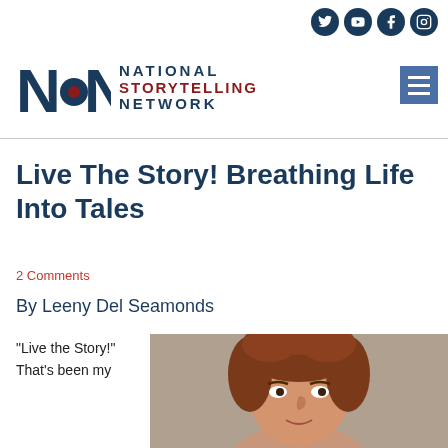[Figure (logo): National Storytelling Network logo with stylized N letters and text]
[Figure (infographic): Social media icons: Twitter, YouTube, Facebook, Instagram in dark navy circles]
[Figure (other): Hamburger menu button (three horizontal lines) in blue square]
Live The Story! Breathing Life Into Tales
2 Comments
By Leeny Del Seamonds
“Live the Story!” That’s been my
[Figure (photo): Portrait photo of a woman with curly reddish-brown hair against a neutral background]